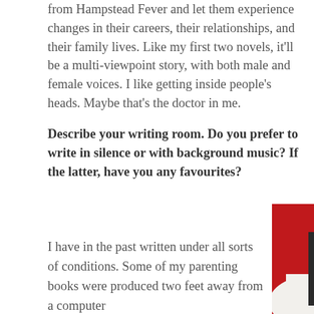from Hampstead Fever and let them experience changes in their careers, their relationships, and their family lives. Like my first two novels, it'll be a multi-viewpoint story, with both male and female voices. I like getting inside people's heads. Maybe that's the doctor in me.
Describe your writing room. Do you prefer to write in silence or with background music? If the latter, have you any favourites?
I have in the past written under all sorts of conditions. Some of my parenting books were produced two feet away from a computer
[Figure (photo): Photo of a room with a bright red wall, a white lamp shade in the lower left, and framed artwork on the upper right showing illustrated figures against a light background.]